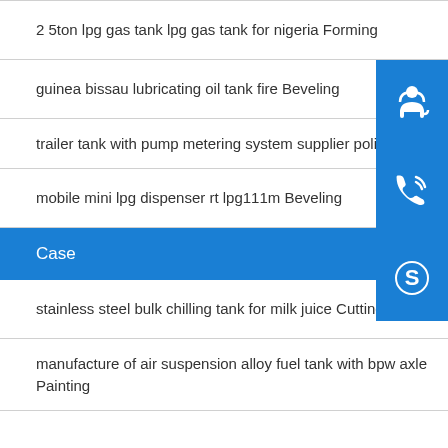2 5ton lpg gas tank lpg gas tank for nigeria Forming
guinea bissau lubricating oil tank fire Beveling
trailer tank with pump metering system supplier polishing
mobile mini lpg dispenser rt lpg111m Beveling
Case
stainless steel bulk chilling tank for milk juice Cutting
manufacture of air suspension alloy fuel tank with bpw axle Painting